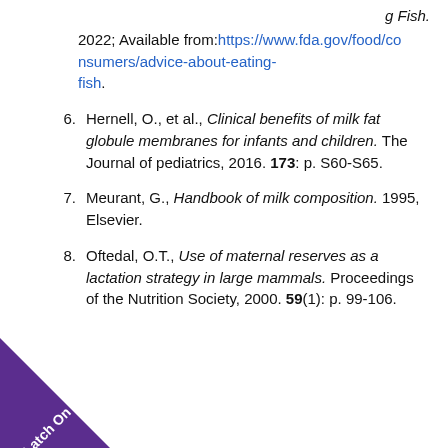g Fish. 2022; Available from:https://www.fda.gov/food/consumers/advice-about-eating-fish.
6. Hernell, O., et al., Clinical benefits of milk fat globule membranes for infants and children. The Journal of pediatrics, 2016. 173: p. S60-S65.
7. Meurant, G., Handbook of milk composition. 1995, Elsevier.
8. Oftedal, O.T., Use of maternal reserves as a lactation strategy in large mammals. Proceedings of the Nutrition Society, 2000. 59(1): p. 99-106.
[Figure (logo): Purple 'Latch On' badge in bottom-left corner]